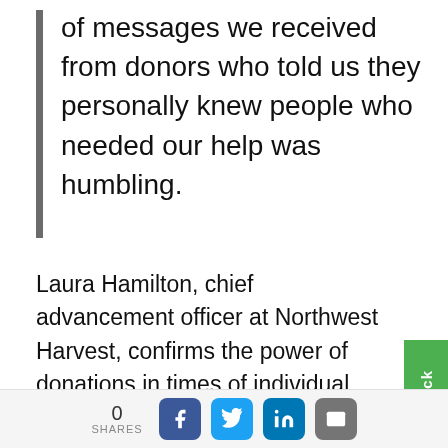of messages we received from donors who told us they personally knew people who needed our help was humbling.
Laura Hamilton, chief advancement officer at Northwest Harvest, confirms the power of donations in times of individual and collective struggle. “The outpouring of financial donations has been awe-inspiring,” she says. “People continue to contact us to ask how they can h
0 SHARES